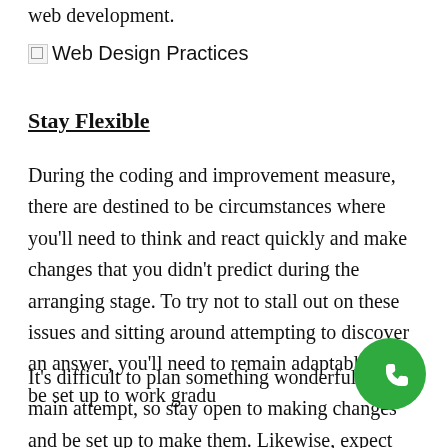web development.
[Figure (photo): Broken image placeholder labeled 'Web Design Practices']
Stay Flexible
During the coding and improvement measure, there are destined to be circumstances where you'll need to think and react quickly and make changes that you didn't predict during the arranging stage. To try not to stall out on these issues and sitting around attempting to discover an answer, you'll need to remain adaptable and be set up to work gradu
It's difficult to plan something wonderful on the main attempt, so stay open to making changes and be set up to make them. Likewise, expect